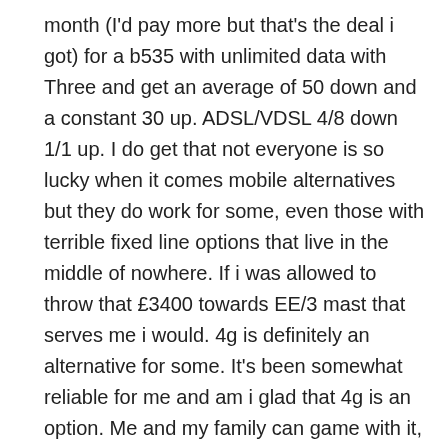month (I'd pay more but that's the deal i got) for a b535 with unlimited data with Three and get an average of 50 down and a constant 30 up. ADSL/VDSL 4/8 down 1/1 up. I do get that not everyone is so lucky when it comes mobile alternatives but they do work for some, even those with terrible fixed line options that live in the middle of nowhere. If i was allowed to throw that £3400 towards EE/3 mast that serves me i would. 4g is definitely an alternative for some. It's been somewhat reliable for me and am i glad that 4g is an option. Me and my family can game with it, video call, download large updates, watch netflix in 4k, easily use 1tb+ a month with it. I could go with EE for £30ish a month which i wouldn't consider bad either.